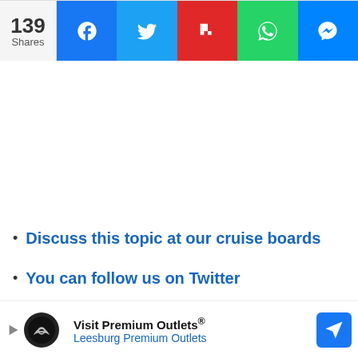[Figure (other): Social share bar with 139 Shares count and buttons for Facebook, Twitter, Flipboard, WhatsApp, and Messenger]
Discuss this topic at our cruise boards
You can follow us on Twitter
Get the big cruise headlines with our weekly cruise...
[Figure (other): Advertisement banner for Visit Premium Outlets - Leesburg Premium Outlets]